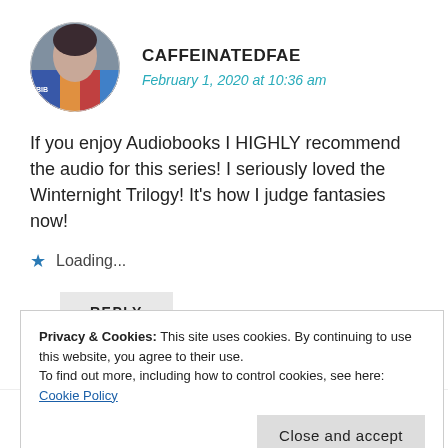[Figure (photo): Circular avatar photo of a person with dark hair holding books, with colorful book spines visible]
CAFFEINATEDFAE
February 1, 2020 at 10:36 am
If you enjoy Audiobooks I HIGHLY recommend the audio for this series! I seriously loved the Winternight Trilogy! It's how I judge fantasies now!
Loading...
REPLY
Privacy & Cookies: This site uses cookies. By continuing to use this website, you agree to their use.
To find out more, including how to control cookies, see here: Cookie Policy
Close and accept
I DESPERATELY need to read these books. I've heard